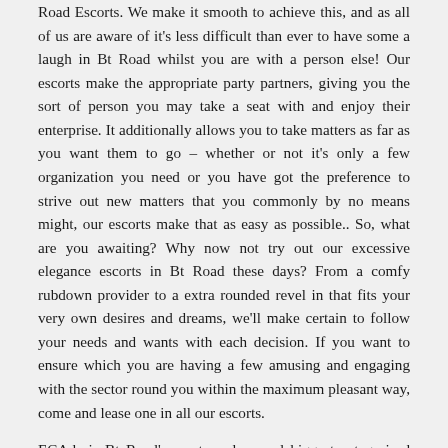Road Escorts. We make it smooth to achieve this, and as all of us are aware of it's less difficult than ever to have some a laugh in Bt Road whilst you are with a person else! Our escorts make the appropriate party partners, giving you the sort of person you may take a seat with and enjoy their enterprise. It additionally allows you to take matters as far as you want them to go – whether or not it's only a few organization you need or you have got the preference to strive out new matters that you commonly by no means might, our escorts make that as easy as possible.. So, what are you awaiting? Why now not try out our excessive elegance escorts in Bt Road these days? From a comfy rubdown provider to a extra rounded revel in that fits your very own desires and dreams, we'll make certain to follow your needs and wants with each decision. If you want to ensure which you are having a few amusing and engaging with the sector round you within the maximum pleasant way, come and lease one in all our escorts.
ECAds is Bt Road's most modern and biggest categorised internet site that caters to all classes. If you're searching out escorts in Bt Road or anywhere inside the international, ECAds is the website for you. With 1000's of commercials being published day by day, you may discover precisely what you're looking for. If your kind is